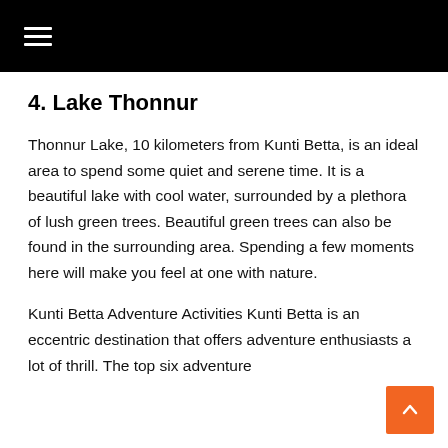≡
4. Lake Thonnur
Thonnur Lake, 10 kilometers from Kunti Betta, is an ideal area to spend some quiet and serene time. It is a beautiful lake with cool water, surrounded by a plethora of lush green trees. Beautiful green trees can also be found in the surrounding area. Spending a few moments here will make you feel at one with nature.
Kunti Betta Adventure Activities Kunti Betta is an eccentric destination that offers adventure enthusiasts a lot of thrill. The top six adventure